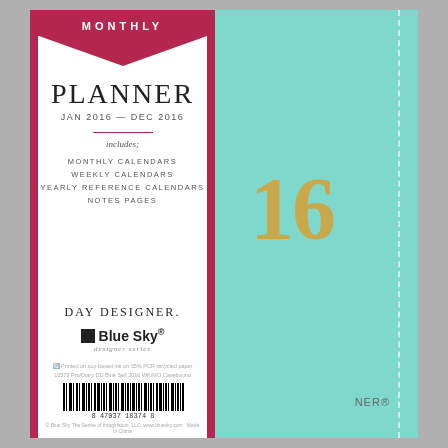[Figure (photo): Back cover of a Day Designer Monthly Planner for Jan 2016 - Dec 2016, published by Blue Sky designer series. Teal/mint leatherette cover with gold '16' embossed, and white spine band with crimson/pink borders showing product details, barcode, and branding.]
MONTHLY
PLANNER
JAN 2016 — DEC 2016
includes;
MONTHLY CALENDARS
WEEKLY CALENDARS
YEARLY REFERENCE CALENDARS
NOTES PAGES
DAY DESIGNER.
Blue Sky designer series
Printed on soy-based ink on 35% PCR recycled paper
10578 Pro/Diary DD Blue Sell 2016 WK/MO Casebound
8 47037 18374 8
© Blue Sky The Sense of Imagination, LLC. www.bluesky.com Made in China